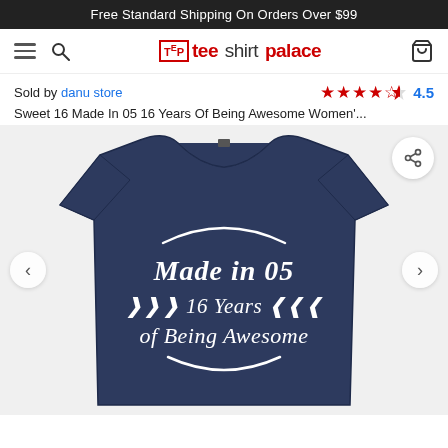Free Standard Shipping On Orders Over $99
[Figure (logo): Tee Shirt Palace logo with hamburger menu, search icon, and cart icon in navigation bar]
Sold by danu store
4.5 stars rating
Sweet 16 Made In 05 16 Years Of Being Awesome Women'...
[Figure (photo): Navy blue women's v-neck t-shirt with white script text reading 'Made in 05 / 16 Years / of Being Awesome' with decorative arc and leaf elements]